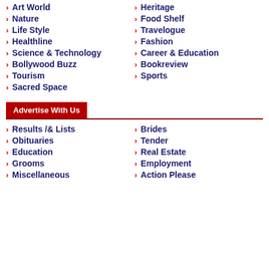Art World
Heritage
Nature
Food Shelf
Life Style
Travelogue
Healthline
Fashion
Science & Technology
Career & Education
Bollywood Buzz
Bookreview
Tourism
Sports
Sacred Space
Advertise With Us
Results /& Lists
Brides
Obituaries
Tender
Education
Real Estate
Grooms
Employment
Miscellaneous
Action Please